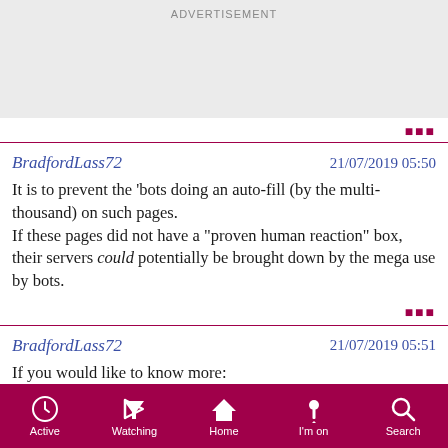[Figure (other): Advertisement banner placeholder (grey background)]
BradfordLass72   21/07/2019 05:50
It is to prevent the 'bots doing an auto-fill (by the multi-thousand) on such pages.
If these pages did not have a "proven human reaction" box, their servers could potentially be brought down by the mega use by bots.
BradfordLass72   21/07/2019 05:51
If you would like to know more: